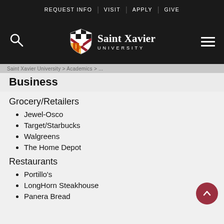REQUEST INFO | VISIT | APPLY | GIVE
[Figure (logo): Saint Xavier University logo with shield icon and search/hamburger navigation elements]
Business
Grocery/Retailers
Jewel-Osco
Target/Starbucks
Walgreens
The Home Depot
Restaurants
Portillo's
LongHorn Steakhouse
Panera Bread